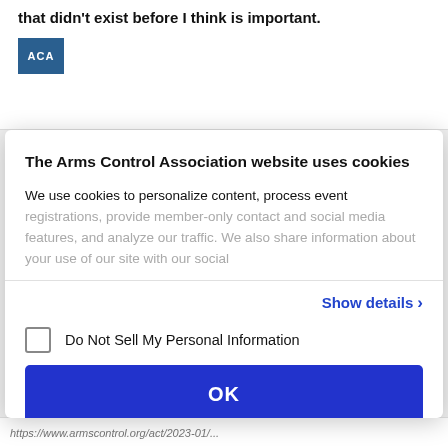that didn't exist before I think is important.
[Figure (logo): ACA logo - blue square with white text 'ACA']
The Arms Control Association website uses cookies
We use cookies to personalize content, process event registrations, provide member-only contact and social media features, and analyze our traffic. We also share information about your use of our site with our social
Show details >
Do Not Sell My Personal Information
OK
Powered by Cookiebot by Usercentrics